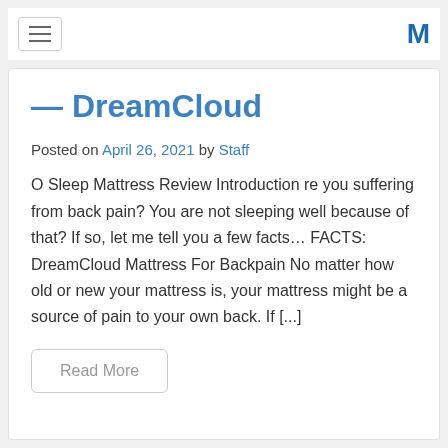≡  M
— DreamCloud
Posted on April 26, 2021 by Staff
O Sleep Mattress Review Introduction re you suffering from back pain? You are not sleeping well because of that? If so, let me tell you a few facts… FACTS: DreamCloud Mattress For Backpain No matter how old or new your mattress is, your mattress might be a source of pain to your own back. If [...]
Read More